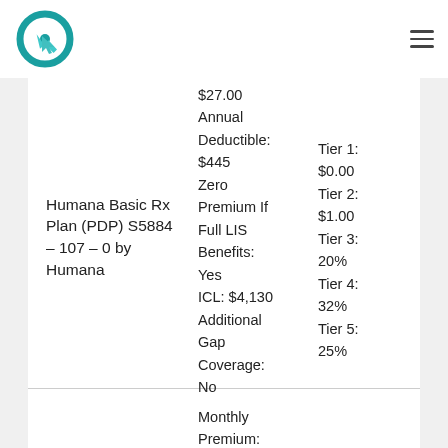Logo and navigation header
Humana Basic Rx Plan (PDP) S5884 – 107 – 0 by Humana
$27.00 Annual Deductible: $445 Zero Premium If Full LIS Benefits: Yes ICL: $4,130 Additional Gap Coverage: No
Tier 1: $0.00 Tier 2: $1.00 Tier 3: 20% Tier 4: 32% Tier 5: 25%
Monthly Premium: